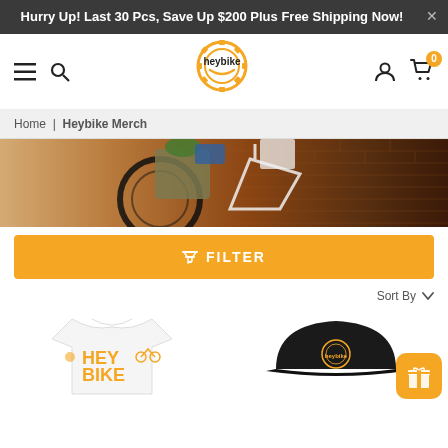Hurry Up! Last 30 Pcs, Save Up $200 Plus Free Shipping Now!
[Figure (logo): Heybike logo with gear/sun icon in orange and black text]
Home | Heybike Merch
[Figure (photo): Hero banner showing a bicycle loaded with bags near a brick wall]
FILTER
Sort By
[Figure (photo): White HeyBike branded t-shirt with orange HEY BIKE logo]
[Figure (photo): Black HeyBike branded cap/hat]